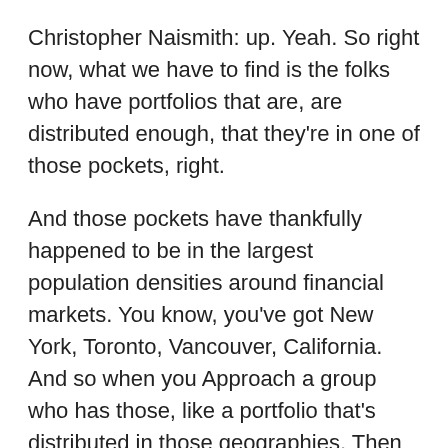Christopher Naismith: up. Yeah. So right now, what we have to find is the folks who have portfolios that are, are distributed enough, that they're in one of those pockets, right.
And those pockets have thankfully happened to be in the largest population densities around financial markets. You know, you've got New York, Toronto, Vancouver, California. And so when you Approach a group who has those, like a portfolio that's distributed in those geographies. Then they're actually, they actually care about it and where they were, they distributed enough that they don't even know what all the regulations are.
Um, That's where they really need to start [00:21:00] to, you know, pull the data together. And so that's really the focus of our work right now is working with those large corporate. Class a like AAA buildings, smart buildings in